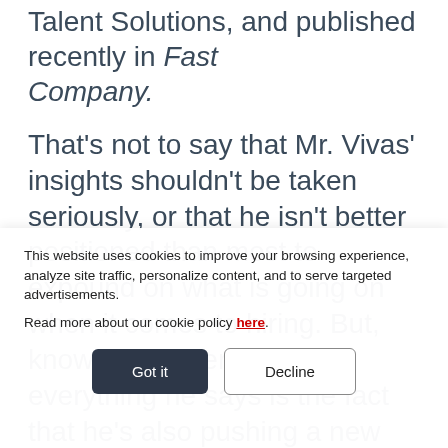Talent Solutions, and published recently in Fast Company.
That's not to say that Mr. Vivas' insights shouldn't be taken seriously, or that he isn't better positioned than most to expound on what is going on when it comes to hiring. But, know that underpinning everything he says is the fact that he's also pushing a new LinkedIn recruiting
This website uses cookies to improve your browsing experience, analyze site traffic, personalize content, and to serve targeted advertisements.

Read more about our cookie policy here.